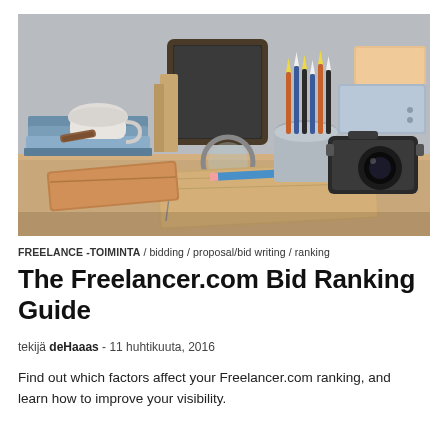[Figure (photo): A desk scene with books stacked on the left, a teacup, a chalkboard, a magnifying glass, a metal pencil holder with colored pencils, stacked boxes, a retro camera, a notebook with a blue pencil, and a wooden box, all on a wooden surface with a light gray background.]
FREELANCE -TOIMINTA / bidding / proposal/bid writing / ranking
The Freelancer.com Bid Ranking Guide
tekijä deHaaas - 11 huhtikuuta, 2016
Find out which factors affect your Freelancer.com ranking, and learn how to improve your visibility.